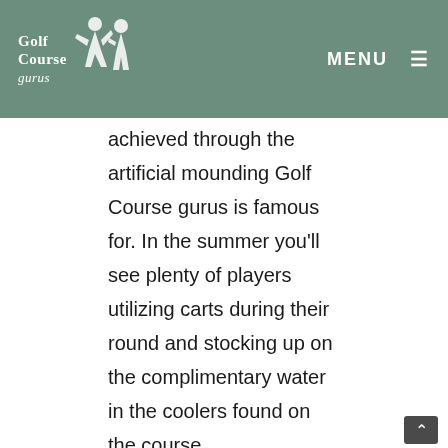Golf Course gurus — MENU
character to the layout that is otherwise achieved through the artificial mounding Golf Course gurus is famous for. In the summer you'll see plenty of players utilizing carts during their round and stocking up on the complimentary water in the coolers found on the course.
By the Numbers
| Tees | Par | Yardage | Rating | Slope |
| --- | --- | --- | --- | --- |
| Gold | 70 | 6752 | 74.6 | 140 |
| Gold/Blue | 70 | 6497 | 73.0 | 135 |
| Blue | 70 | 6234 | 71.4 | 132 |